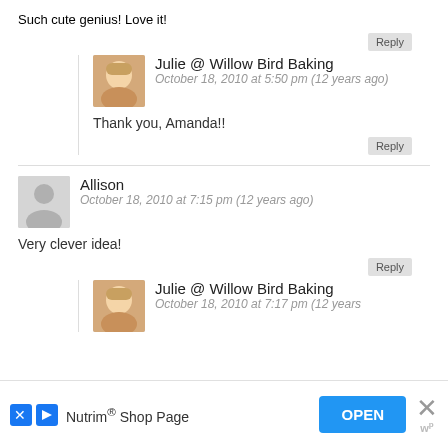Such cute genius! Love it!
Reply
Julie @ Willow Bird Baking
October 18, 2010 at 5:50 pm (12 years ago)
Thank you, Amanda!!
Reply
Allison
October 18, 2010 at 7:15 pm (12 years ago)
Very clever idea!
Reply
Julie @ Willow Bird Baking
October 18, 2010 at 7:17 pm (12 years
Nutrim® Shop Page
OPEN